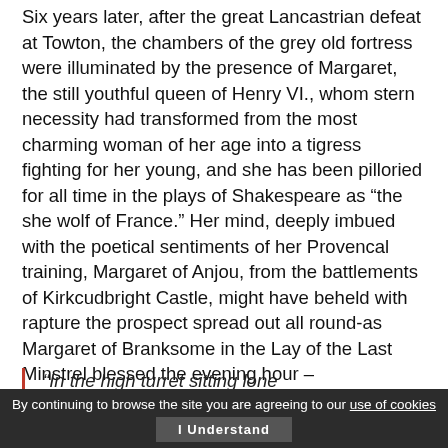Six years later, after the great Lancastrian defeat at Towton, the chambers of the grey old fortress were illuminated by the presence of Margaret, the still youthful queen of Henry VI., whom stern necessity had transformed from the most charming woman of her age into a tigress fighting for her young, and she has been pilloried for all time in the plays of Shakespeare as “the she wolf of France.” Her mind, deeply imbued with the poetical sentiments of her Provencal training, Margaret of Anjou, from the battlements of Kirkcudbright Castle, might have beheld with rapture the prospect spread out all round-as Margaret of Branksome in the Lay of the Last Minstrel blessed the evening hour –
“In the high turret sitting lone
By continuing to browse the site you are agreeing to our use of cookies
I Understand